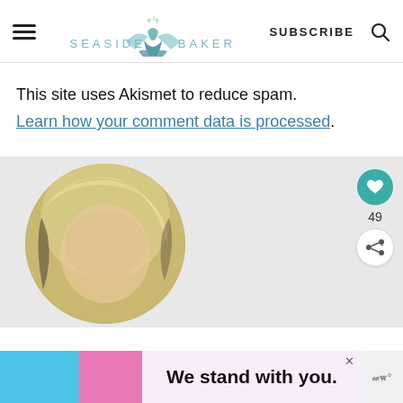SEASIDE BAKER — SUBSCRIBE
This site uses Akismet to reduce spam. Learn how your comment data is processed.
[Figure (photo): A circular cropped photo of a person with blonde hair on a light gray background, with social interaction buttons (heart icon, count of 49, share icon) on the right side.]
[Figure (infographic): Advertisement banner: colored blocks of blue and pink on left, text reads 'We stand with you.' with a close button and a logo on the right.]